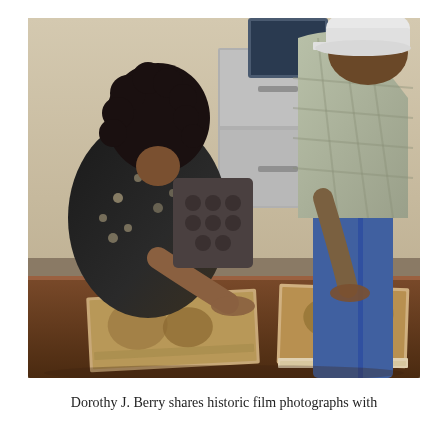[Figure (photo): Two people looking at historic film photographs spread on a dark wooden table. A woman with curly hair wearing a black and white patterned top is seated on the left, leaning over the table with her hand touching the photographs. A man wearing a white baseball cap and a plaid shirt is standing on the right, leaning over the table examining the photographs. A gray filing cabinet and office environment are visible in the background. The photographs on the table appear to be old sepia-toned images.]
Dorothy J. Berry shares historic film photographs with